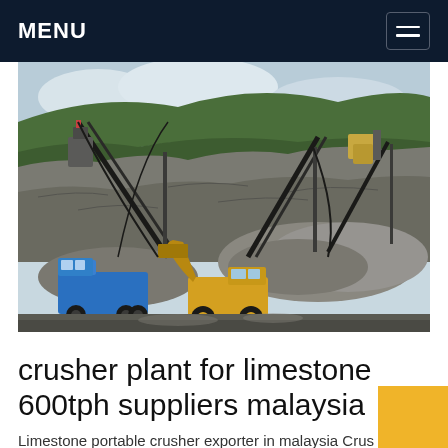MENU
[Figure (photo): Quarry/crusher plant site with conveyor belts, machinery, a blue dump truck, and a yellow front loader working on crushed stone, with steep rock/earth hillside in background]
crusher plant for limestone 600tph suppliers malaysia
Limestone portable crusher exporter in malaysia Crusher Limestone Impact Crusher Plant In Malaysia Portable